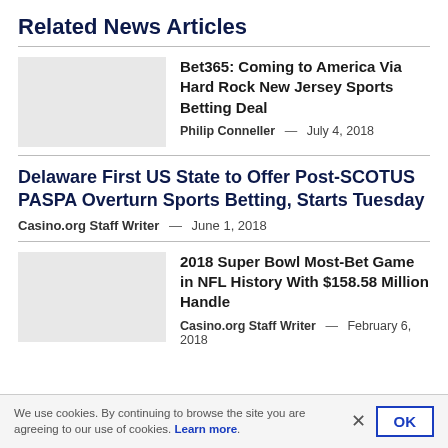Related News Articles
Bet365: Coming to America Via Hard Rock New Jersey Sports Betting Deal
Philip Conneller — July 4, 2018
Delaware First US State to Offer Post-SCOTUS PASPA Overturn Sports Betting, Starts Tuesday
Casino.org Staff Writer — June 1, 2018
2018 Super Bowl Most-Bet Game in NFL History With $158.58 Million Handle
Casino.org Staff Writer — February 6, 2018
We use cookies. By continuing to browse the site you are agreeing to our use of cookies. Learn more.